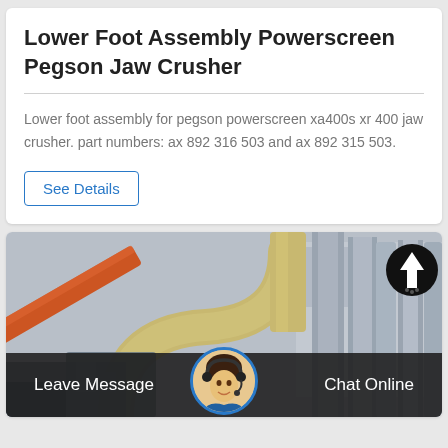Lower Foot Assembly Powerscreen Pegson Jaw Crusher
Lower foot assembly for pegson powerscreen xa400s xr 400 jaw crusher. part numbers: ax 892 316 503 and ax 892 315 503.
See Details
[Figure (photo): Industrial machinery photo showing a jaw crusher or heavy equipment with orange crane arm, yellow/beige piping and ducts, and large metallic cylindrical structures against a building background. A scroll-up button (black circle with white arrow) overlays the top right. A chat bar with 'Leave Message' on the left, customer service avatar in center, and 'Chat Online' on the right overlays the bottom.]